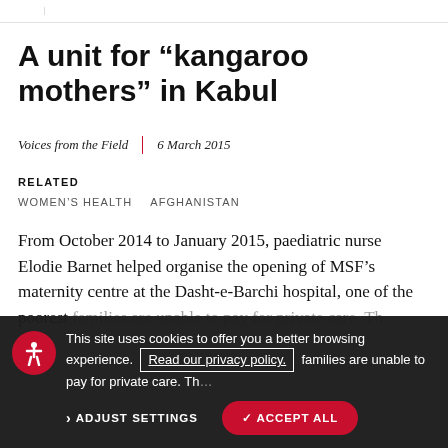A unit for “kangaroo mothers” in Kabul
Voices from the Field  |  6 March 2015
RELATED
WOMEN’S HEALTH
AFGHANISTAN
From October 2014 to January 2015, paediatric nurse Elodie Barnet helped organise the opening of MSF’s maternity centre at the Dasht-e-Barchi hospital, one of the poorest families are unable to pay for private care. Th...
This site uses cookies to offer you a better browsing experience. Read our privacy policy. ADJUST SETTINGS ✓ ACCEPT ALL